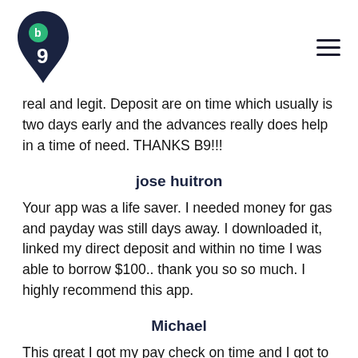B9 logo and navigation
real and legit. Deposit are on time which usually is two days early and the advances really does help in a time of need. THANKS B9!!!
jose huitron
Your app was a life saver. I needed money for gas and payday was still days away. I downloaded it, linked my direct deposit and within no time I was able to borrow $100.. thank you so so much. I highly recommend this app.
Michael
This great I got my pay check on time and I got to borrow money to pay off my bills. Still waiting on my card but I was still able to use without it,thank you so much